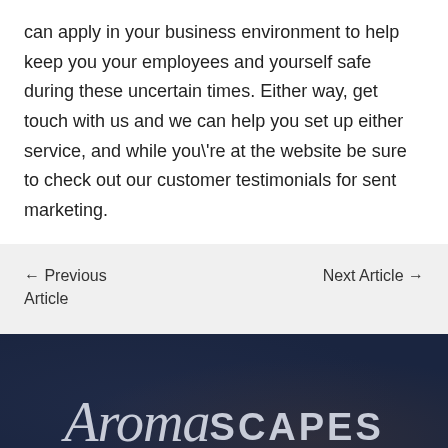can apply in your business environment to help keep you your employees and yourself safe during these uncertain times. Either way, get touch with us and we can help you set up either service, and while you\'re at the website be sure to check out our customer testimonials for sent marketing.
← Previous Article
Next Article →
[Figure (logo): AromaScapes logo in light grey on dark navy textured background, with 'Aroma' in italic script font and 'SCAPES' in uppercase sans-serif, with a curved underline beneath the script portion.]